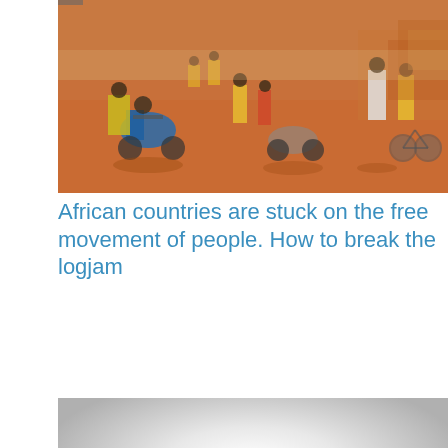[Figure (photo): Busy African street scene with motorcycles and people on a red dirt road, wearing colorful clothing including blue and yellow. Shops and bicycles visible in background.]
African countries are stuck on the free movement of people. How to break the logjam
[Figure (photo): Silhouettes of a crowd of people standing against a bright white/grey sky, with the figures appearing as dark shapes along the bottom of the image.]